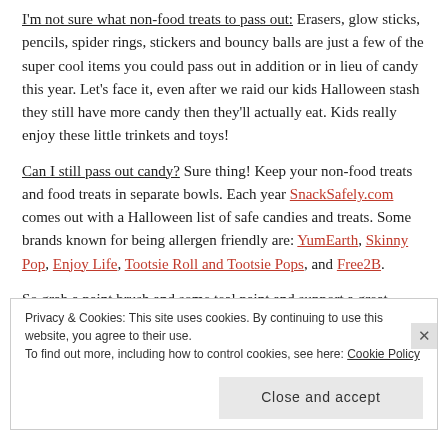I'm not sure what non-food treats to pass out: Erasers, glow sticks, pencils, spider rings, stickers and bouncy balls are just a few of the super cool items you could pass out in addition or in lieu of candy this year. Let's face it, even after we raid our kids Halloween stash they still have more candy then they'll actually eat. Kids really enjoy these little trinkets and toys!
Can I still pass out candy? Sure thing! Keep your non-food treats and food treats in separate bowls. Each year SnackSafely.com comes out with a Halloween list of safe candies and treats. Some brands known for being allergen friendly are: YumEarth, Skinny Pop, Enjoy Life, Tootsie Roll and Tootsie Pops, and Free2B.
So grab a paint brush and some teal paint and support a great cause!
Privacy & Cookies: This site uses cookies. By continuing to use this website, you agree to their use. To find out more, including how to control cookies, see here: Cookie Policy